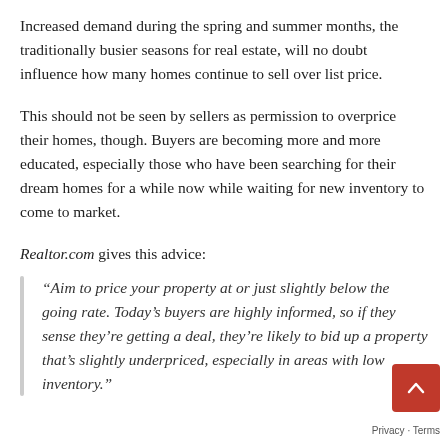Increased demand during the spring and summer months, the traditionally busier seasons for real estate, will no doubt influence how many homes continue to sell over list price.
This should not be seen by sellers as permission to overprice their homes, though. Buyers are becoming more and more educated, especially those who have been searching for their dream homes for a while now while waiting for new inventory to come to market.
Realtor.com gives this advice:
“Aim to price your property at or just slightly below the going rate. Today’s buyers are highly informed, so if they sense they’re getting a deal, they’re likely to bid up a property that’s slightly underpriced, especially in areas with low inventory.”